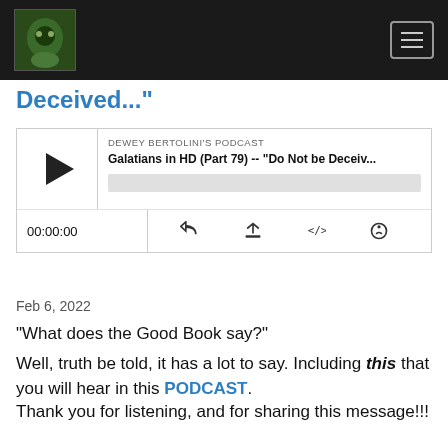Site logo and navigation menu
Deceived..."
[Figure (screenshot): Podcast player widget showing DEWEY BERTOLINI'S PODCAST, episode: Galatians in HD (Part 79) -- "Do Not be Deceiv...", with play button, progress bar, time 00:00:00, and control icons]
Feb 6, 2022
“What does the Good Book say?”
Well, truth be told, it has a lot to say. Including this that you will hear in this PODCAST.
Thank you for listening, and for sharing this message!!!
Please remember that depending upon your